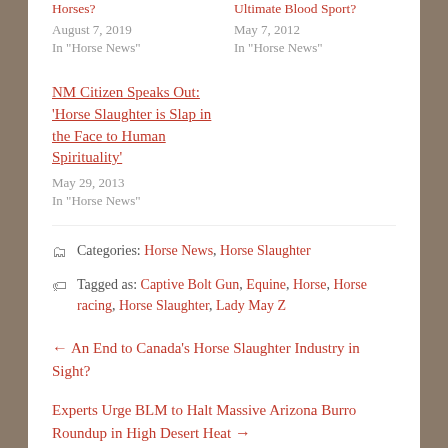Horses? August 7, 2019 In "Horse News"
Ultimate Blood Sport? May 7, 2012 In "Horse News"
NM Citizen Speaks Out: 'Horse Slaughter is Slap in the Face to Human Spirituality' May 29, 2013 In "Horse News"
Categories: Horse News, Horse Slaughter
Tagged as: Captive Bolt Gun, Equine, Horse, Horse racing, Horse Slaughter, Lady May Z
← An End to Canada's Horse Slaughter Industry in Sight?
Experts Urge BLM to Halt Massive Arizona Burro Roundup in High Desert Heat →